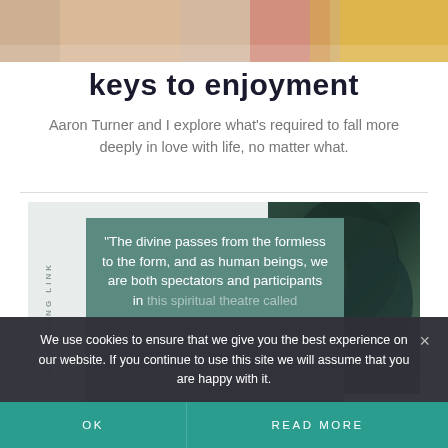[Figure (photo): Top portion of a photo showing people, partially cropped]
keys to enjoyment
Aaron Turner and I explore what's required to fall more deeply in love with life, no matter what.
[Figure (photo): Card with vertical text THE MISSING LINK, a quote overlay in teal reading: "The divine passes from the formless to the form, and as human beings, we are both spectators and participants in this spiritual theatre called" (faded) with attribution sydney banks, and a dark photo on the right side]
We use cookies to ensure that we give you the best experience on our website. If you continue to use this site we will assume that you are happy with it.
OK
READ MORE
the missing link